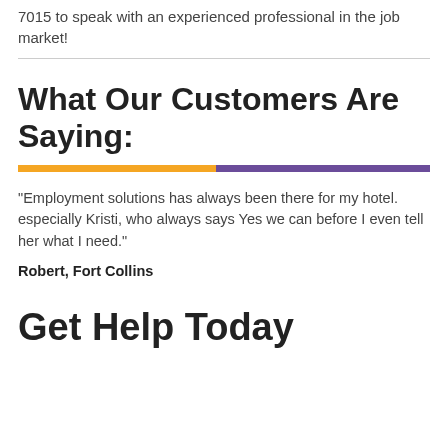7015 to speak with an experienced professional in the job market!
What Our Customers Are Saying:
"Employment solutions has always been there for my hotel. especially Kristi, who always says Yes we can before I even tell her what I need."
Robert, Fort Collins
Get Help Today